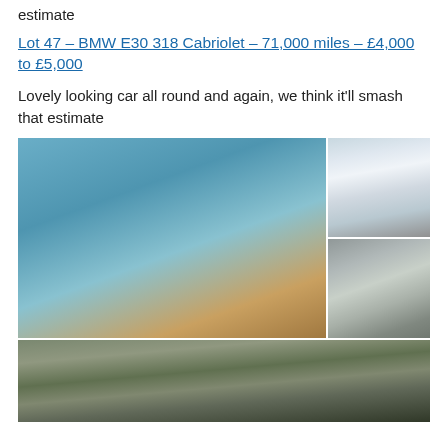estimate
Lot 47 – BMW E30 318 Cabriolet – 71,000 miles – £4,000 to £5,000
Lovely looking car all round and again, we think it'll smash that estimate
[Figure (photo): Large photo of a teal/blue BMW E30 coupe parked on gravel, shot from a front 3/4 angle; two smaller photos on the right showing a white BMW E30 cabriolet and a silver BMW E30 sedan; a wide bottom photo of a car park scene with trees]
[Figure (photo): Wide bottom photo showing a car park with various cars and trees in the background, partial view of a BMW cabriolet roof in the foreground]